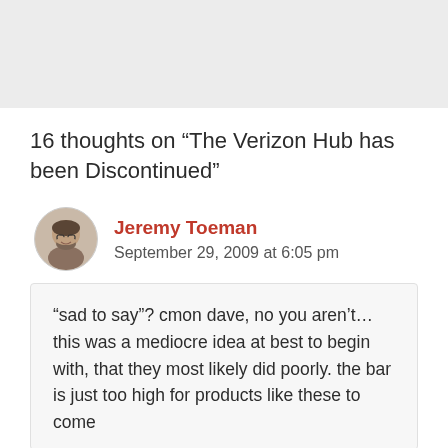16 thoughts on “The Verizon Hub has been Discontinued”
Jeremy Toeman
September 29, 2009 at 6:05 pm
“sad to say”? cmon dave, no you aren’t… this was a mediocre idea at best to begin with, that they most likely did poorly. the bar is just too high for products like these to come